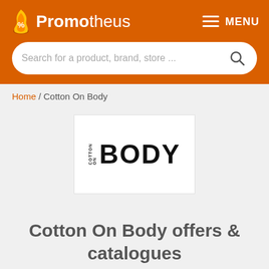Promotheus MENU
Search for a product, brand, store ...
Home / Cotton On Body
[Figure (logo): Cotton On Body brand logo — small text 'COTTON ON' vertical on left, large bold text 'BODY' on right, white background with border]
Cotton On Body offers & catalogues